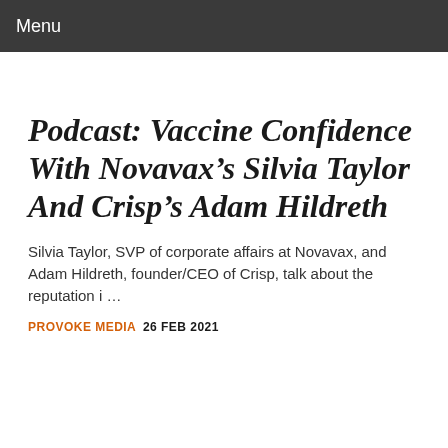Menu
Podcast: Vaccine Confidence With Novavax’s Silvia Taylor And Crisp’s Adam Hildreth
Silvia Taylor, SVP of corporate affairs at Novavax, and Adam Hildreth, founder/CEO of Crisp, talk about the reputation i …
PROVOKE MEDIA  26 FEB 2021